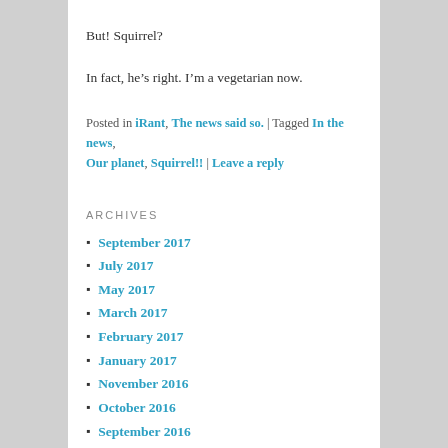But! Squirrel?
In fact, he’s right. I’m a vegetarian now.
Posted in iRant, The news said so. | Tagged In the news, Our planet, Squirrel!! | Leave a reply
ARCHIVES
September 2017
July 2017
May 2017
March 2017
February 2017
January 2017
November 2016
October 2016
September 2016
August 2016
June 2016
May 2016